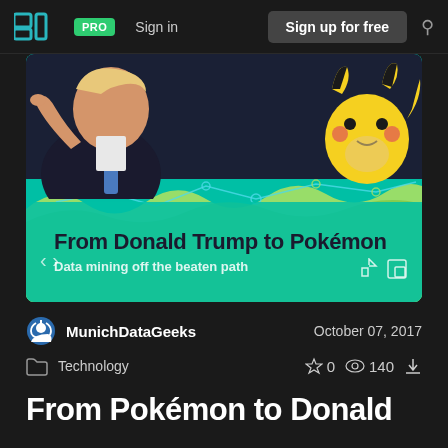SJ PRO  Sign in  Sign up for free
[Figure (screenshot): Slide preview showing Donald Trump pointing and Pikachu with wavy green chart background. Title reads: From Donald Trump to Pokémon. Subtitle: Data mining off the beaten path]
MunichDataGeeks  October 07, 2017
Technology  0  140
From Pokémon to Donald